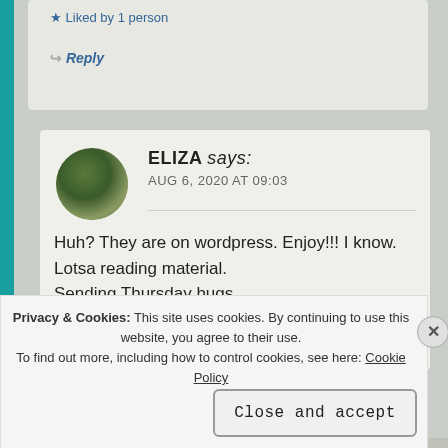★ Liked by 1 person
↩ Reply
ELIZA says: AUG 6, 2020 AT 09:03
Huh? They are on wordpress. Enjoy!!! I know.
Lotsa reading material.
Sending Thursday hugs
Privacy & Cookies: This site uses cookies. By continuing to use this website, you agree to their use.
To find out more, including how to control cookies, see here: Cookie Policy
Close and accept